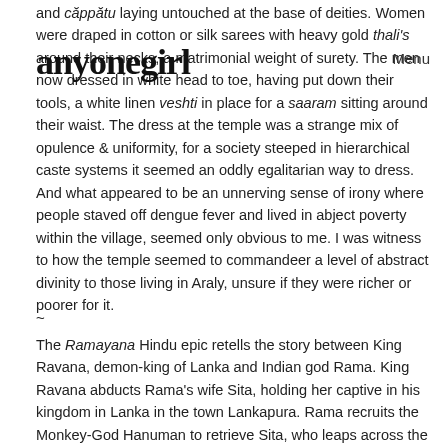anyonegirl
and căppătu laying untouched at the base of deities. Women were draped in cotton or silk sarees with heavy gold thali's around their necks, a matrimonial weight of surety. The men now dressed in white head to toe, having put down their tools, a white linen veshti in place for a saaram sitting around their waist. The dress at the temple was a strange mix of opulence & uniformity, for a society steeped in hierarchical caste systems it seemed an oddly egalitarian way to dress. And what appeared to be an unnerving sense of irony where people staved off dengue fever and lived in abject poverty within the village, seemed only obvious to me. I was witness to how the temple seemed to commandeer a level of abstract divinity to those living in Araly, unsure if they were richer or poorer for it.
~
The Ramayana Hindu epic retells the story between King Ravana, demon-king of Lanka and Indian god Rama. King Ravana abducts Rama's wife Sita, holding her captive in his kingdom in Lanka in the town Lankapura. Rama recruits the Monkey-God Hanuman to retrieve Sita, who leaps across the Indian Ocean through the mouth of Surasa, a sea monster, on the way to the island of Lanka. Having shrunk to the size of a mouse, he finds her held captive in an ashok grove near Ravana's palace. He brings good news back to Rama in Kishkindha of Sita still being alive, not